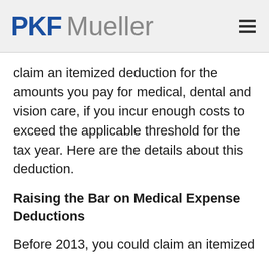PKF Mueller
claim an itemized deduction for the amounts you pay for medical, dental and vision care, if you incur enough costs to exceed the applicable threshold for the tax year. Here are the details about this deduction.
Raising the Bar on Medical Expense Deductions
Before 2013, you could claim an itemized